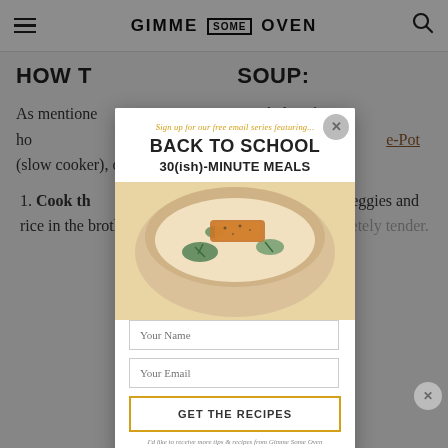GIMME SOME OVEN
HOW TO MAKE SOUP:
As mentioned below for how to make this recipe either in the Instant Pot (slow cooker), or on the stovetop. The method is to
1. Cook the chicken. Depending on cooking method, add veggies and rice in the broth (sans cream) until the rice is completely tender.
[Figure (screenshot): Email signup modal popup for 'Back to School 30(ish)-Minute Meals' with a food photo, name and email input fields, and a 'GET THE RECIPES' button.]
Sign up for our free email series featuring...
BACK TO SCHOOL 30(ish)-MINUTE MEALS
Your Name
Your Email
GET THE RECIPES
I'd like to receive more tips & recipes from Gimme Some Oven